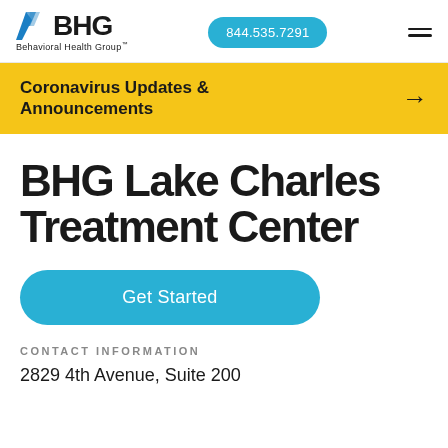[Figure (logo): BHG Behavioral Health Group logo with blue chevron icon]
844.535.7291
Coronavirus Updates & Announcements
BHG Lake Charles Treatment Center
Get Started
CONTACT INFORMATION
2829 4th Avenue, Suite 200